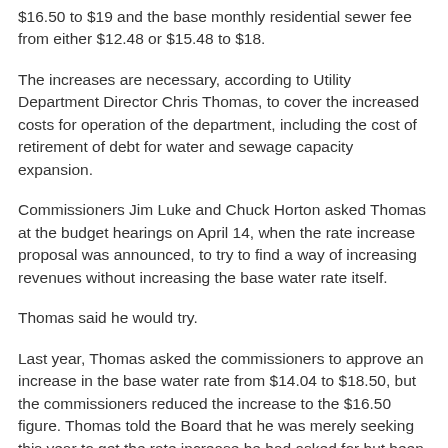$16.50 to $19 and the base monthly residential sewer fee from either $12.48 or $15.48 to $18.
The increases are necessary, according to Utility Department Director Chris Thomas, to cover the increased costs for operation of the department, including the cost of retirement of debt for water and sewage capacity expansion.
Commissioners Jim Luke and Chuck Horton asked Thomas at the budget hearings on April 14, when the rate increase proposal was announced, to try to find a way of increasing revenues without increasing the base water rate itself.
Thomas said he would try.
Last year, Thomas asked the commissioners to approve an increase in the base water rate from $14.04 to $18.50, but the commissioners reduced the increase to the $16.50 figure. Thomas told the Board that he was merely seeking this year to get the rate increase he had asked for but been denied a year earlier.